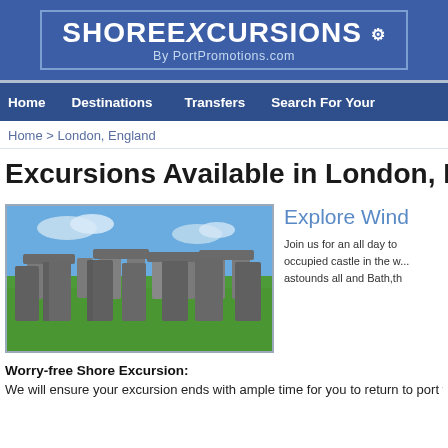[Figure (logo): Shore Excursions by PortPromotions.com logo on blue background]
Home  Destinations  Transfers  Search For Your
Home > London, England
Excursions Available in London, England
[Figure (photo): Stonehenge ancient stone circle monument against blue sky with green grass]
Explore Wind...
Join us for an all day to... occupied castle in the w... astounds all and Bath,th...
Worry-free Shore Excursion:
We will ensure your excursion ends with ample time for you to return to port for...